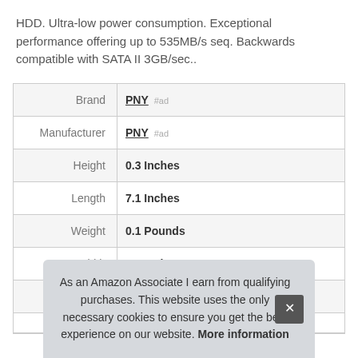HDD. Ultra-low power consumption. Exceptional performance offering up to 535MB/s seq. Backwards compatible with SATA II 3GB/sec..
|  |  |
| --- | --- |
| Brand | PNY #ad |
| Manufacturer | PNY #ad |
| Height | 0.3 Inches |
| Length | 7.1 Inches |
| Weight | 0.1 Pounds |
| Width | 5.9 Inches |
| P |  |
As an Amazon Associate I earn from qualifying purchases. This website uses the only necessary cookies to ensure you get the best experience on our website. More information